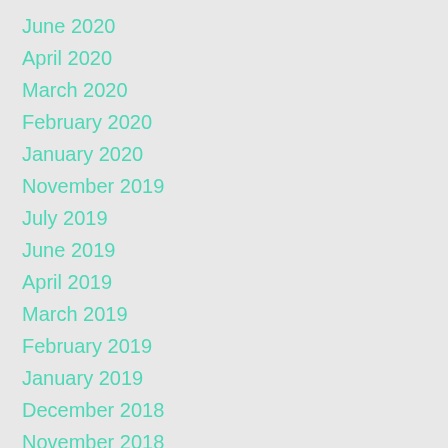June 2020
April 2020
March 2020
February 2020
January 2020
November 2019
July 2019
June 2019
April 2019
March 2019
February 2019
January 2019
December 2018
November 2018
October 2018
July 2018
June 2018
May 2018
March 2018